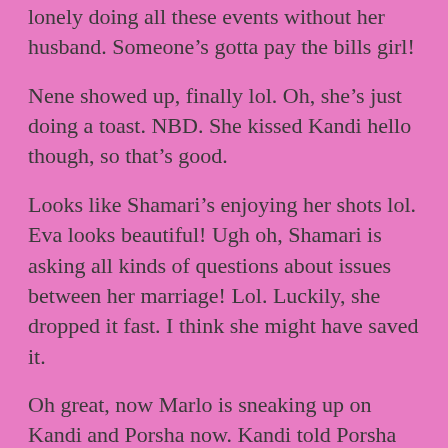lonely doing all these events without her husband. Someone’s gotta pay the bills girl!
Nene showed up, finally lol. Oh, she’s just doing a toast. NBD. She kissed Kandi hello though, so that’s good.
Looks like Shamari’s enjoying her shots lol. Eva looks beautiful! Ugh oh, Shamari is asking all kinds of questions about issues between her marriage! Lol. Luckily, she dropped it fast. I think she might have saved it.
Oh great, now Marlo is sneaking up on Kandi and Porsha now. Kandi told Porsha that Nene called her asking all kinds of questions about their lunch. Marlo’s going to get Nene so they can talk, I don’t think that’s a good idea…she just said this is not a good day.